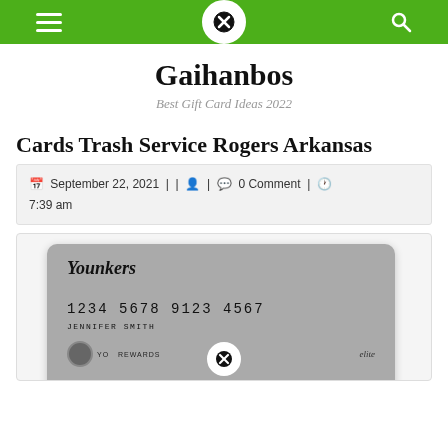Gaihanbos navigation bar
Gaihanbos
Best Gift Card Ideas 2022
Cards Trash Service Rogers Arkansas
September 22, 2021 | | | 0 Comment | 7:39 am
[Figure (photo): Younkers store credit card (grey) with number 1234 5678 9123 4567, cardholder name JENNIFER SMITH, and Younkers elite YO REWARDS branding at bottom]